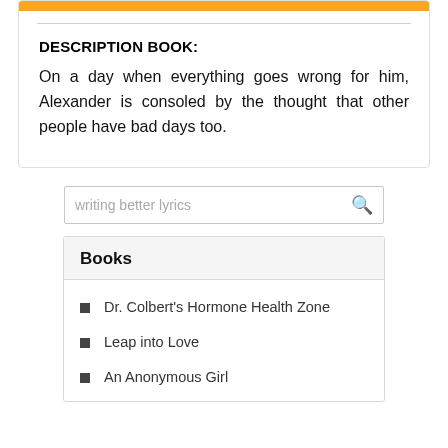DESCRIPTION BOOK:
On a day when everything goes wrong for him, Alexander is consoled by the thought that other people have bad days too.
writing better lyrics
Books
Dr. Colbert's Hormone Health Zone
Leap into Love
An Anonymous Girl